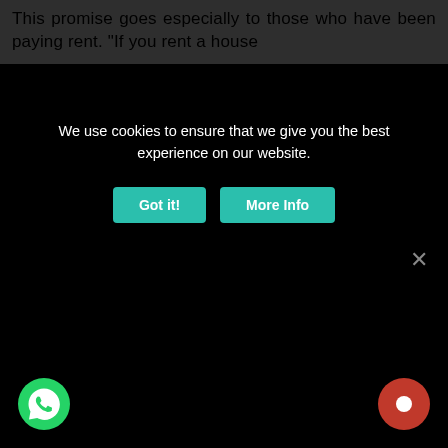This promise goes especially to those who have been paying rent. “If you rent a house
We use cookies to ensure that we give you the best experience on our website.
[Figure (screenshot): Cookie consent overlay with two teal buttons labeled 'Got it!' and 'More Info', over a dark semi-transparent background. A WhatsApp icon appears bottom-left and a red notification icon bottom-right. A grey X close button is in the lower right area.]